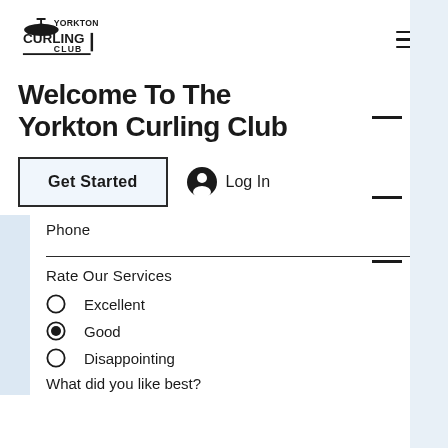[Figure (logo): Yorkton Curling Club logo with curling stone icon and bold text]
Welcome To The Yorkton Curling Club
Get Started
Log In
Phone
Rate Our Services
Excellent
Good
Disappointing
What did you like best?